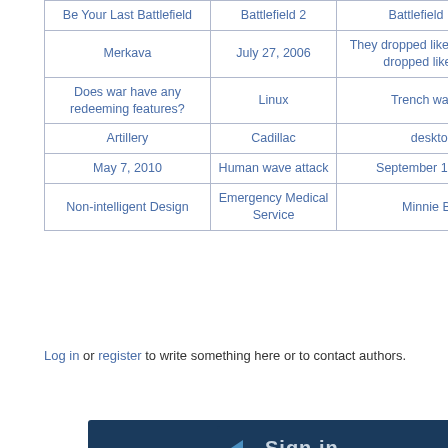| Be Your Last Battlefield | Battlefield 2 | Battlefield Earth | ready to eat |
| Merkava | July 27, 2006 | They dropped like flakes, they dropped like stars | The Crusader and the New Army |
| Does war have any redeeming features? | Linux | Trench warfare | Objective Individual Combat Weapon (OICW) |
| Artillery | Cadillac | desktop | War |
| May 7, 2010 | Human wave attack | September 15, 2007 | July 25, 2006 |
| Non-intelligent Design | Emergency Medical Service | Minnie Ball |  |
Log in or register to write something here or to contact authors.
[Figure (other): Sign in button/banner with dark blue background and light grey text]